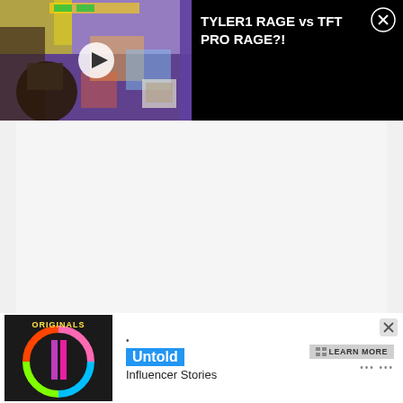[Figure (screenshot): Video thumbnail showing a gaming stream screenshot with colorful game graphics and a person visible. Play button overlay in center.]
TYLER1 RAGE vs TFT PRO RAGE?!
[Figure (screenshot): Advertisement banner for 'Untold Influencer Stories' with Originals logo on left, blue Untold label, LEARN MORE button, and close X button.]